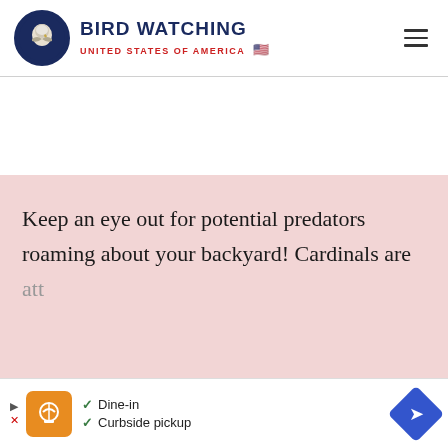BIRD WATCHING UNITED STATES OF AMERICA
Keep an eye out for potential predators roaming about your backyard! Cardinals are
att... pr...
[Figure (other): Advertisement bar with restaurant dine-in/curbside pickup info]